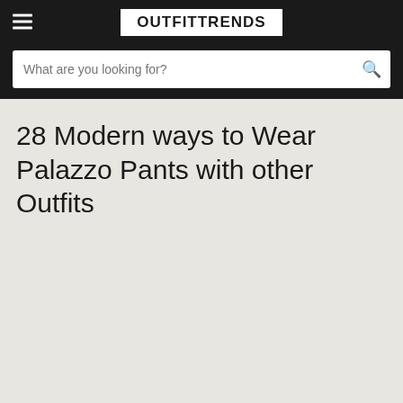OUTFITTRENDS
28 Modern ways to Wear Palazzo Pants with other Outfits